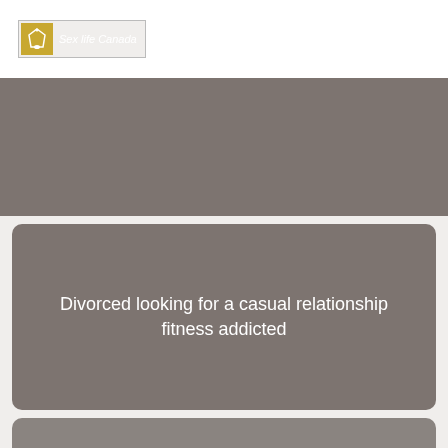[Figure (logo): Sex life Canada logo with bell icon in gold/yellow box and italic script text]
[Figure (photo): Gray banner image at top of content area]
Divorced looking for a casual relationship fitness addicted
[Figure (photo): Gray card at bottom, partially visible]